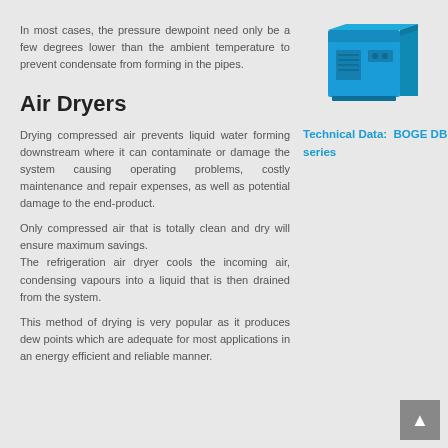In most cases, the pressure dewpoint need only be a few degrees lower than the ambient temperature to prevent condensate from forming in the pipes.
Air Dryers
[Figure (photo): Blue BOGE DB series air dryer unit, a rectangular industrial machine in blue color]
Drying compressed air prevents liquid water forming downstream where it can contaminate or damage the system causing operating problems, costly maintenance and repair expenses, as well as potential damage to the end-product.
Technical Data:  BOGE DB series
Only compressed air that is totally clean and dry will ensure maximum savings.
The refrigeration air dryer cools the incoming air, condensing vapours into a liquid that is then drained from the system.
This method of drying is very popular as it produces dew points which are adequate for most applications in an energy efficient and reliable manner.